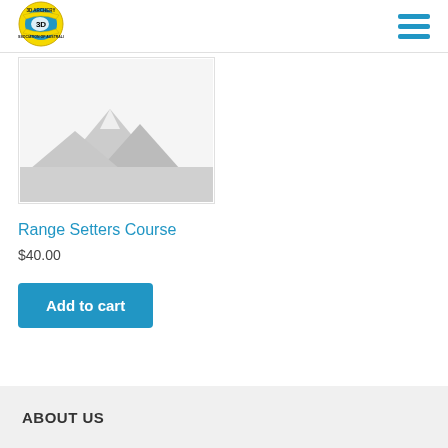[Figure (logo): 3D Archery Association of Australia circular badge logo with yellow banner and blue circle showing Australia map]
[Figure (other): Hamburger menu icon with three horizontal blue bars]
[Figure (photo): Product placeholder image showing a grey mountain/landscape silhouette on white background inside a bordered box]
Range Setters Course
$40.00
Add to cart
ABOUT US